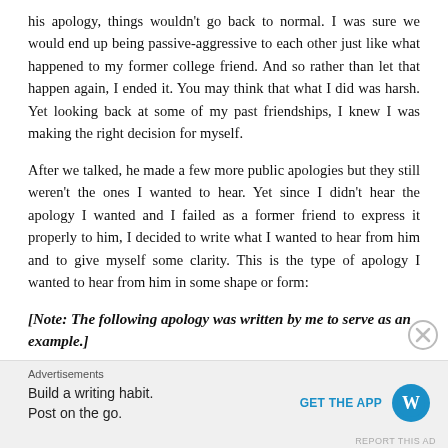his apology, things wouldn't go back to normal. I was sure we would end up being passive-aggressive to each other just like what happened to my former college friend. And so rather than let that happen again, I ended it. You may think that what I did was harsh. Yet looking back at some of my past friendships, I knew I was making the right decision for myself.
After we talked, he made a few more public apologies but they still weren't the ones I wanted to hear. Yet since I didn't hear the apology I wanted and I failed as a former friend to express it properly to him, I decided to write what I wanted to hear from him and to give myself some clarity. This is the type of apology I wanted to hear from him in some shape or form:
[Note: The following apology was written by me to serve as an example.]
Advertisements
Build a writing habit. Post on the go.
GET THE APP